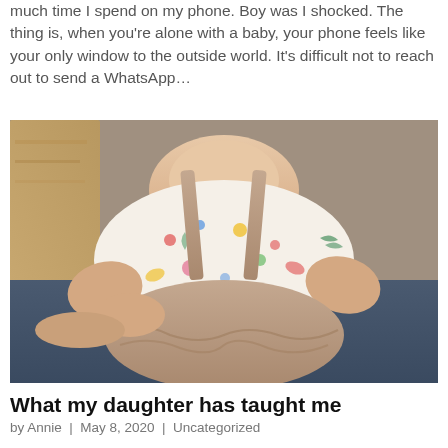much time I spend on my phone. Boy was I shocked. The thing is, when you're alone with a baby, your phone feels like your only window to the outside world. It's difficult not to reach out to send a WhatsApp...
[Figure (photo): Close-up photo of a baby/toddler seen from behind, wearing a colorful patterned shirt with pink/mauve dungarees/overalls. The baby appears to be leaning forward. Background shows a wooden surface.]
What my daughter has taught me
by Annie  |  May 8, 2020  |  Uncategorized